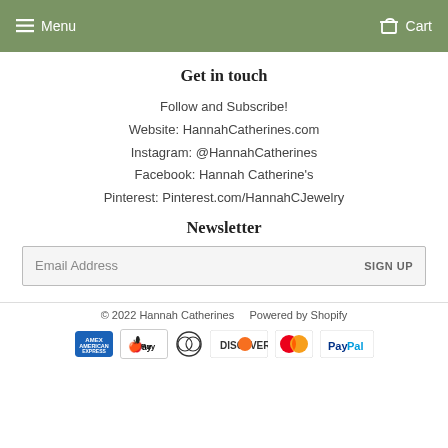Menu   Cart
Get in touch
Follow and Subscribe!
Website: HannahCatherines.com
Instagram: @HannahCatherines
Facebook: Hannah Catherine's
Pinterest: Pinterest.com/HannahCJewelry
Newsletter
Email Address   SIGN UP
© 2022 Hannah Catherines   Powered by Shopify
[Figure (other): Payment method icons: American Express, Apple Pay, Diners Club, Discover, Mastercard, PayPal]